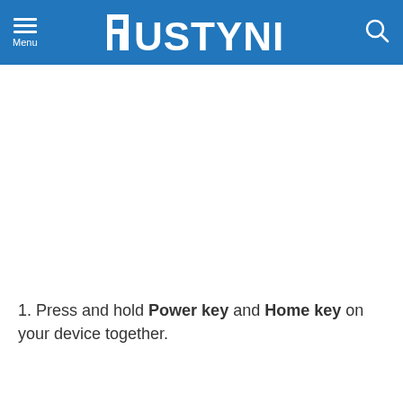RUSTYNI
Press and hold Power key and Home key on your device together.